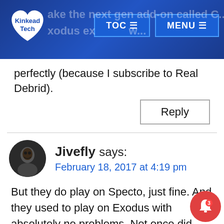Kinkead Tech | TOC | MENU
perfectly (because I subscribe to Real Debrid).
Reply
Jivefly says:
February 18, 2017 at 4:19 pm
But they do play on Specto, just fine. And they used to play on Exodus with absolutely no problems. Not once did ever have to pay a subscription. I got